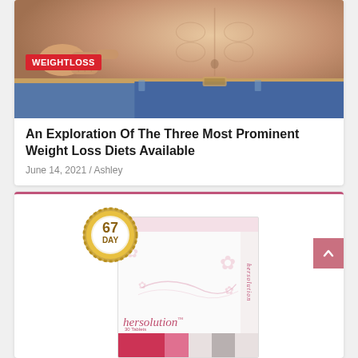[Figure (photo): Fit male torso showing waistband being pulled out, with a hand pointing. WEIGHTLOSS category tag overlaid on bottom-left of image.]
An Exploration Of The Three Most Prominent Weight Loss Diets Available
June 14, 2021 / Ashley
[Figure (photo): HerSolution product box with 67 Day guarantee gold seal, pink/rose branding, with hersolution text and pink/gray bottom strips. Back-to-top arrow button on right.]